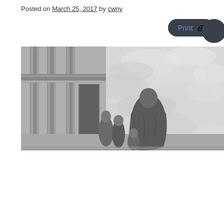Posted on March 25, 2017 by cwny
[Figure (illustration): Black and white engraving showing robed figures standing near classical columns with turbulent clouds or waves in the background.]